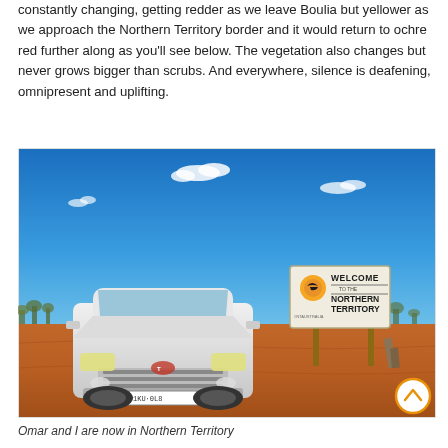constantly changing, getting redder as we leave Boulia but yellower as we approach the Northern Territory border and it would return to ochre red further along as you'll see below. The vegetation also changes but never grows bigger than scrubs. And everywhere, silence is deafening, omnipresent and uplifting.
[Figure (photo): A white Toyota Land Cruiser Prado parked on red outback dirt in front of a 'Welcome to the Northern Territory' sign with the NT logo (sun/bird). Blue sky with a few clouds in the background and sparse scrub vegetation.]
Omar and I are now in Northern Territory